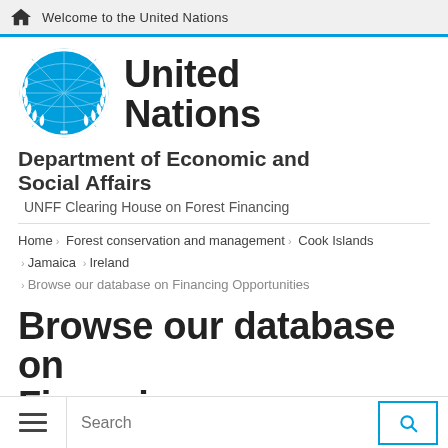Welcome to the United Nations
[Figure (logo): United Nations emblem logo in blue]
United Nations
Department of Economic and Social Affairs
UNFF Clearing House on Forest Financing
Home › Forest conservation and management › Cook Islands › Jamaica › Ireland › Browse our database on Financing Opportunities
Browse our database on Financing Opportunities